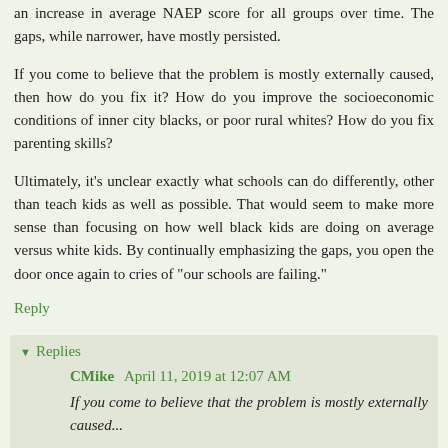an increase in average NAEP score for all groups over time. The gaps, while narrower, have mostly persisted.
If you come to believe that the problem is mostly externally caused, then how do you fix it? How do you improve the socioeconomic conditions of inner city blacks, or poor rural whites? How do you fix parenting skills?
Ultimately, it’s unclear exactly what schools can do differently, other than teach kids as well as possible. That would seem to make more sense than focusing on how well black kids are doing on average versus white kids. By continually emphasizing the gaps, you open the door once again to cries of “our schools are failing.”
Reply
Replies
CMike  April 11, 2019 at 12:07 AM
If you come to believe that the problem is mostly externally caused...